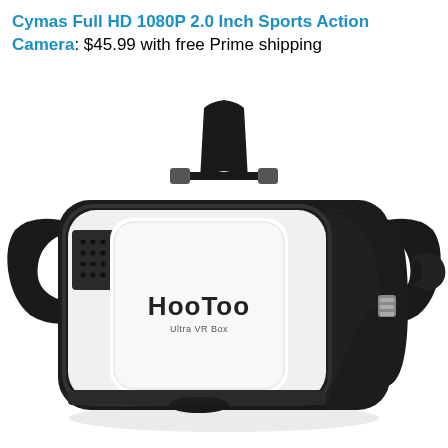Cymas Full HD 1080P 2.0 Inch Sports Action Camera: $45.99 with free Prime shipping
[Figure (photo): HooToo Ultra VR Box virtual reality headset, white and black, with adjustable head straps, viewed from the front-left angle]